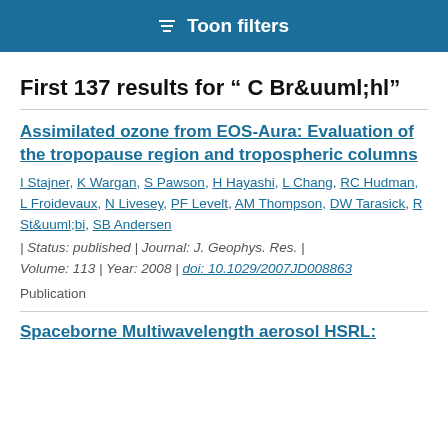Toon filters
First 137 results for " C Br&uuml;hl"
Assimilated ozone from EOS-Aura: Evaluation of the tropopause region and tropospheric columns
I Stajner, K Wargan, S Pawson, H Hayashi, L Chang, RC Hudman, L Froidevaux, N Livesey, PF Levelt, AM Thompson, DW Tarasick, R St&uuml;bi, SB Andersen | Status: published | Journal: J. Geophys. Res. | Volume: 113 | Year: 2008 | doi: 10.1029/2007JD008863
Publication
Spaceborne Multiwavelength aerosol HSRL: